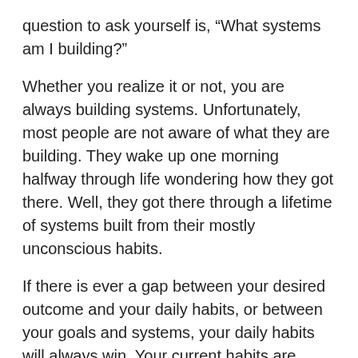question to ask yourself is, “What systems am I building?”
Whether you realize it or not, you are always building systems. Unfortunately, most people are not aware of what they are building. They wake up one morning halfway through life wondering how they got there. Well, they got there through a lifetime of systems built from their mostly unconscious habits.
If there is ever a gap between your desired outcome and your daily habits, or between your goals and systems, your daily habits will always win. Your current habits are perfectly designed for your current results. Take a moment to think about that. Your current results are precisely crafted from your lifetime of habits.
The Greek Philosopher Archilochos said, “We don’t